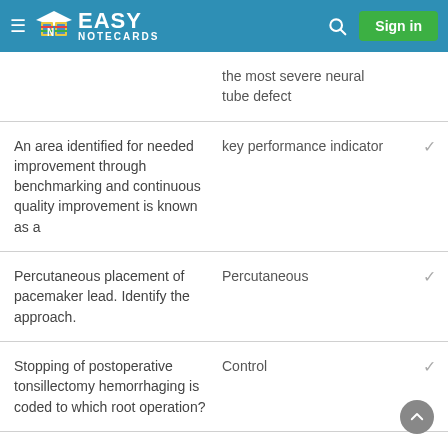Easy Notecards — Sign in
the most severe neural tube defect
| Question | Answer | Correct |
| --- | --- | --- |
| An area identified for needed improvement through benchmarking and continuous quality improvement is known as a | key performance indicator | ✓ |
| Percutaneous placement of pacemaker lead. Identify the approach. | Percutaneous | ✓ |
| Stopping of postoperative tonsillectomy hemorrhaging is coded to which root operation? | Control | ✓ |